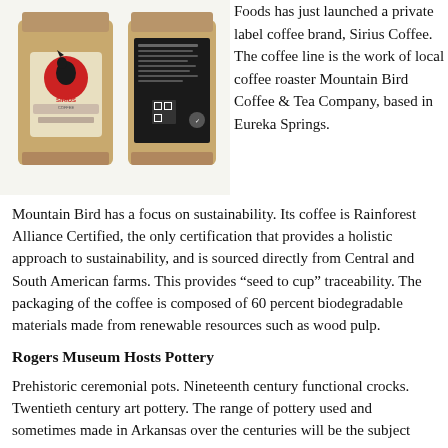[Figure (photo): Two brown kraft paper coffee bags side by side. The left bag has a label with a dog silhouette and red circle reading 'Sirius Coffee'. The right bag shows the back/nutrition label side.]
Foods has just launched a private label coffee brand, Sirius Coffee. The coffee line is the work of local coffee roaster Mountain Bird Coffee & Tea Company, based in Eureka Springs.
Mountain Bird has a focus on sustainability. Its coffee is Rainforest Alliance Certified, the only certification that provides a holistic approach to sustainability, and is sourced directly from Central and South American farms. This provides “seed to cup” traceability. The packaging of the coffee is composed of 60 percent biodegradable materials made from renewable resources such as wood pulp.
Rogers Museum Hosts Pottery
Prehistoric ceremonial pots. Nineteenth century functional crocks. Twentieth century art pottery. The range of pottery used and sometimes made in Arkansas over the centuries will be the subject